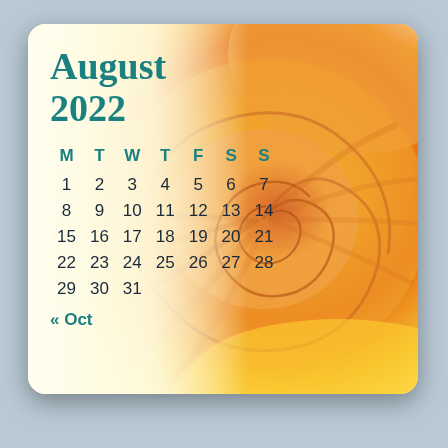[Figure (illustration): Nautilus shell close-up photo with warm orange and yellow tones, used as calendar background]
August 2022
| M | T | W | T | F | S | S |
| --- | --- | --- | --- | --- | --- | --- |
| 1 | 2 | 3 | 4 | 5 | 6 | 7 |
| 8 | 9 | 10 | 11 | 12 | 13 | 14 |
| 15 | 16 | 17 | 18 | 19 | 20 | 21 |
| 22 | 23 | 24 | 25 | 26 | 27 | 28 |
| 29 | 30 | 31 |  |  |  |  |
« Oct